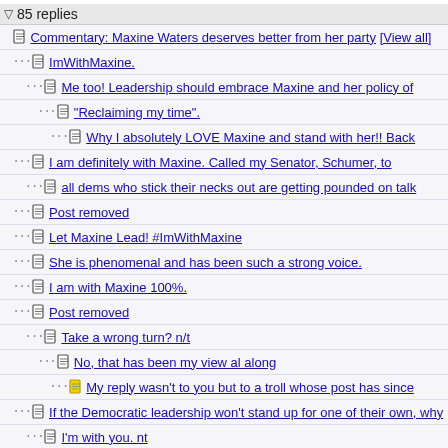85 replies
Commentary: Maxine Waters deserves better from her party [View all]
ImWithMaxine.
Me too! Leadership should embrace Maxine and her policy of
"Reclaiming my time".
Why I absolutely LOVE Maxine and stand with her!! Back
I am definitely with Maxine. Called my Senator, Schumer, to
all dems who stick their necks out are getting pounded on talk
Post removed
Let Maxine Lead! #ImWithMaxine
She is phenomenal and has been such a strong voice.
I am with Maxine 100%.
Post removed
Take a wrong turn? n/t
No, that has been my view al along
My reply wasn't to you but to a troll whose post has since
If the Democratic leadership won't stand up for one of their own, why
I'm with you. nt
Great question. Many already don't, which is why
Right on!! FUCK civility!! Go Maxine!!